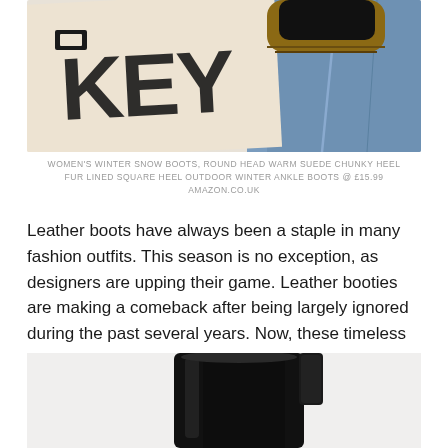[Figure (photo): Flat lay photo showing a cream/beige tote bag with large bold black text, a black shoe/boot with tan chunky sole, and blue denim jeans in the background]
WOMEN'S WINTER SNOW BOOTS, ROUND HEAD WARM SUEDE CHUNKY HEEL FUR LINED SQUARE HEEL OUTDOOR WINTER ANKLE BOOTS @ £15.99 AMAZON.CO.UK
Leather boots have always been a staple in many fashion outfits. This season is no exception, as designers are upping their game. Leather booties are making a comeback after being largely ignored during the past several years. Now, these timeless fashion accessories are popping up on runways and red carpets alike.
[Figure (photo): Close-up photo of black leather Chelsea boots with pull tab, shown against a light grey/white background, cropped at the top of the page]